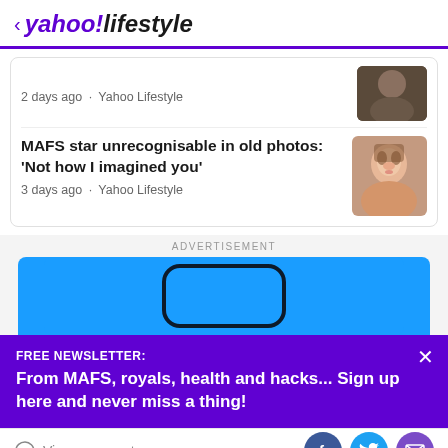< yahoo!lifestyle
2 days ago · Yahoo Lifestyle
MAFS star unrecognisable in old photos: 'Not how I imagined you'
3 days ago · Yahoo Lifestyle
ADVERTISEMENT
[Figure (screenshot): Blue advertisement banner with a rounded rectangle shape]
FREE NEWSLETTER:
From MAFS, royals, health and hacks... Sign up here and never miss a thing!
View comments